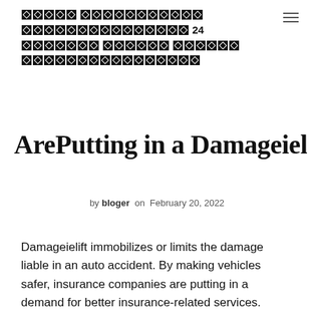[blocked/redacted site title with blocked characters] 24 [blocked characters]
ArePutting in a Damageielift
by bloger on February 20, 2022
Damageielift immobilizes or limits the damage liable in an auto accident. By making vehicles safer, insurance companies are putting in a demand for better insurance-related services.